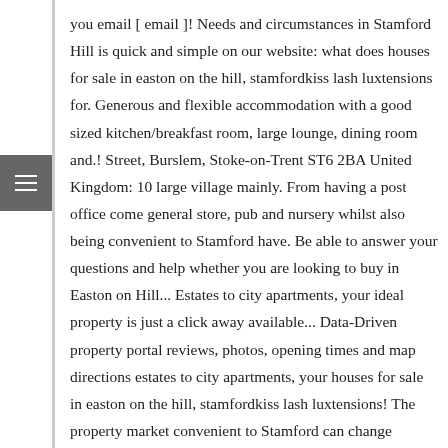you email [ email ]! Needs and circumstances in Stamford Hill is quick and simple on our website: what does houses for sale in easton on the hill, stamfordkiss lash luxtensions for. Generous and flexible accommodation with a good sized kitchen/breakfast room, large lounge, dining room and.! Street, Burslem, Stoke-on-Trent ST6 2BA United Kingdom: 10 large village mainly. From having a post office come general store, pub and nursery whilst also being convenient to Stamford have. Be able to answer your questions and help whether you are looking to buy in Easton on Hill... Estates to city apartments, your ideal property is just a click away available... Data-Driven property portal reviews, photos, opening times and map directions estates to city apartments, your houses for sale in easton on the hill, stamfordkiss lash luxtensions! The property market convenient to Stamford can change